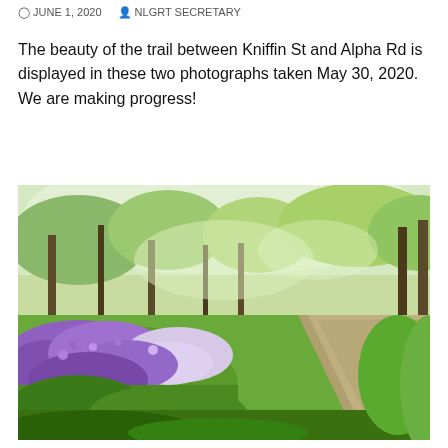JUNE 1, 2020   NLGRT SECRETARY
The beauty of the trail between Kniffin St and Alpha Rd is displayed in these two photographs taken May 30, 2020. We are making progress!
[Figure (photo): A nature trail between Kniffin St and Alpha Rd, photographed May 30, 2020. The trail is bordered by lush green grass and trees, with purple and white wildflowers blooming in the foreground on the left side. A dirt path extends into the distance on the right.]